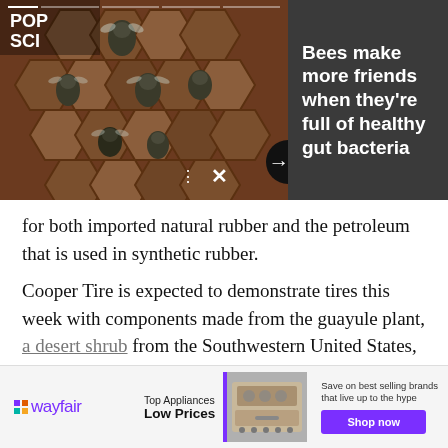[Figure (screenshot): News banner showing close-up photo of bees in honeycomb cells with POP SCI logo, navigation controls, and headline text panel reading 'Bees make more friends when they're full of healthy gut bacteria']
for both imported natural rubber and the petroleum that is used in synthetic rubber.
Cooper Tire is expected to demonstrate tires this week with components made from the guayule plant, a desert shrub from the Southwestern United States, according to The New York Times.
[Figure (screenshot): Wayfair advertisement banner: 'Top Appliances Low Prices' with kitchen appliance image, tagline 'Save on best selling brands that live up to the hype', and purple 'Shop now' button]